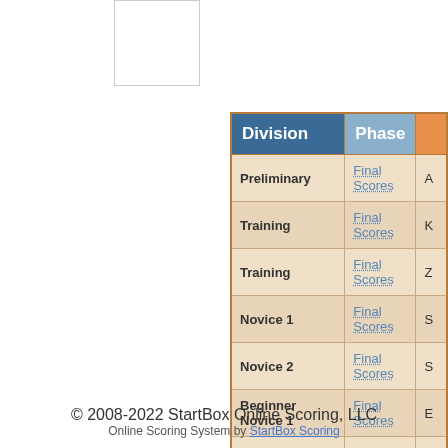| Division | Phase |  |
| --- | --- | --- |
| Preliminary | Final Scores | A |
| Training | Final Scores | K |
| Training | Final Scores | Z |
| Novice 1 | Final Scores | S |
| Novice 2 | Final Scores | S |
| Beginner Novice 1 | Final Scores | E |
| Beginner Novice 2 | Final Scores | R |
| Beginner Novice 3 | Final Scores | C |
| Grasshopper 1 | Final Scores | D |
| Grasshopper 2 | Final Scores | E |
© 2008-2022 StartBox Online Scoring, LLC
Online Scoring System by StartBox Scoring